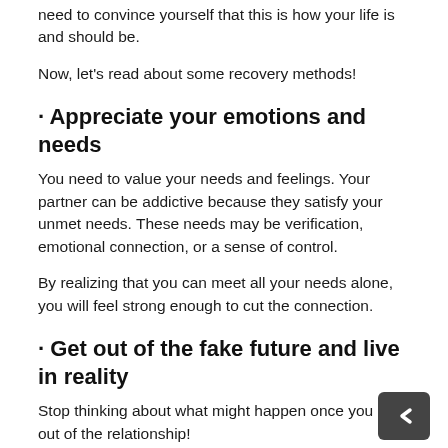need to convince yourself that this is how your life is and should be.
Now, let's read about some recovery methods!
· Appreciate your emotions and needs
You need to value your needs and feelings. Your partner can be addictive because they satisfy your unmet needs. These needs may be verification, emotional connection, or a sense of control.
By realizing that you can meet all your needs alone, you will feel strong enough to cut the connection.
· Get out of the fake future and live in reality
Stop thinking about what might happen once you get out of the relationship!
Even if you do not decide to leave the traumatic intima…